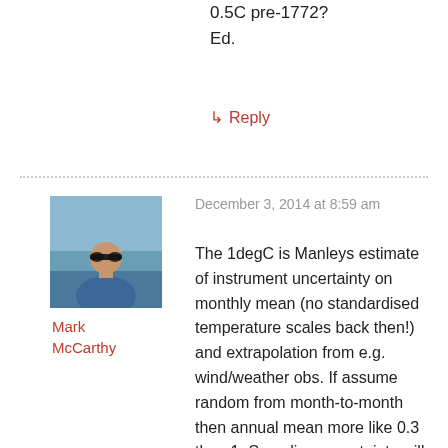0.5C pre-1772?
Ed.
↳ Reply
[Figure (photo): Profile photo of Mark McCarthy - man wearing sunglasses outdoors with sky and water in background]
Mark McCarthy
December 3, 2014 at 8:59 am
The 1degC is Manleys estimate of instrument uncertainty on monthly mean (no standardised temperature scales back then!) and extrapolation from e.g. wind/weather obs. If assume random from month-to-month then annual mean more like 0.3 than 1. Sampling uncertainty will be larger than Parker as often only one station and no